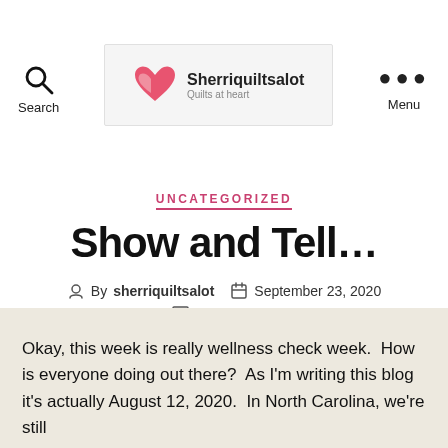Search | Sherriquiltsalot | Menu
UNCATEGORIZED
Show and Tell…
By sherriquiltsalot   September 23, 2020   2 Comments
Okay, this week is really wellness check week.  How is everyone doing out there?  As I'm writing this blog it's actually August 12, 2020.  In North Carolina, we're still